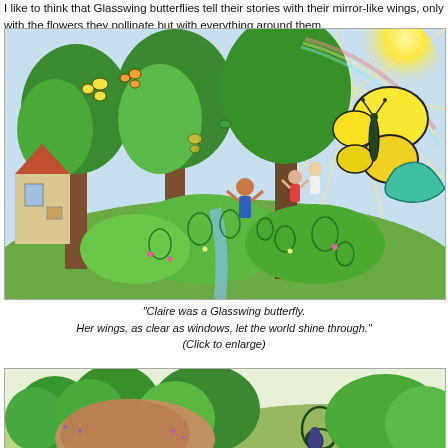I like to think that Glasswing butterflies tell their stories with their mirror-like wings, only with the flowers they pollinate but with everything around them.
[Figure (illustration): Colorful painting showing children playing in a lush green forest with large trees, butterflies, a stream, and a large yellow butterfly near a radiant sun in the upper right corner. A child in the center reaches upward with arms outstretched.]
"Claire was a Glasswing butterfly. Her wings, as clear as windows, let the world shine through." (Click to enlarge)
[Figure (illustration): Colorful painting showing a green landscape with trees, hills, and what appears to be a glasswing butterfly symbol in the foreground vegetation.]